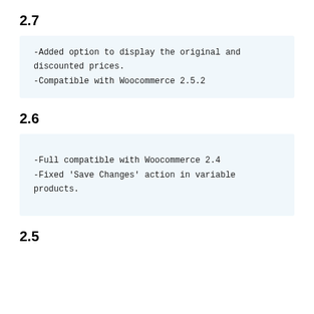2.7
-Added option to display the original and discounted prices.
-Compatible with Woocommerce 2.5.2
2.6
-Full compatible with Woocommerce 2.4
-Fixed 'Save Changes' action in variable products.
2.5